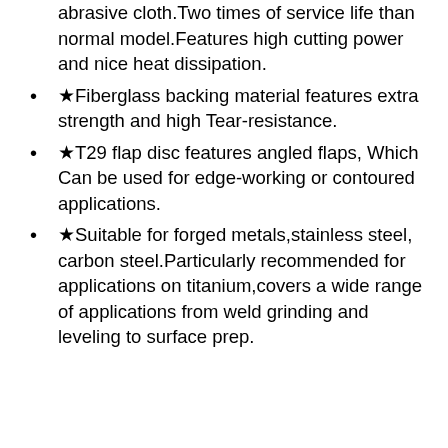abrasive cloth.Two times of service life than normal model.Features high cutting power and nice heat dissipation.
★Fiberglass backing material features extra strength and high Tear-resistance.
★T29 flap disc features angled flaps, Which Can be used for edge-working or contoured applications.
★Suitable for forged metals,stainless steel, carbon steel.Particularly recommended for applications on titanium,covers a wide range of applications from weld grinding and leveling to surface prep.